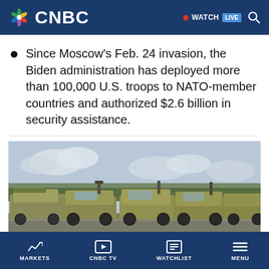CNBC — WATCH LIVE
Since Moscow's Feb. 24 invasion, the Biden administration has deployed more than 100,000 U.S. troops to NATO-member countries and authorized $2.6 billion in security assistance.
[Figure (photo): Row of military vehicles (HMMWVs/Humvees and other armored trucks) parked in a staging area with trees and cloudy sky in background]
MARKETS  CNBC TV  WATCHLIST  MENU